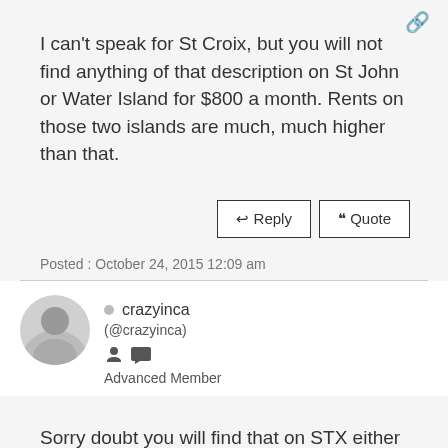I can't speak for St Croix, but you will not find anything of that description on St John or Water Island for $800 a month. Rents on those two islands are much, much higher than that.
Reply | Quote
Posted : October 24, 2015 12:09 am
crazyinca (@crazyinca) Advanced Member
Sorry doubt you will find that on STX either